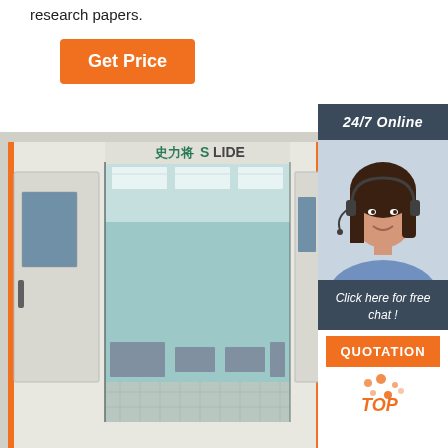research papers.
[Figure (other): Orange 'Get Price' button]
[Figure (photo): Interior of a Slide brand spray paint booth with orange accents, illuminated ceiling, exhaust vents, and grated floor]
[Figure (photo): 24/7 Online customer service widget showing a female customer service agent with headset, 'Click here for free chat!' text, orange QUOTATION button, and orange TOP navigation button]